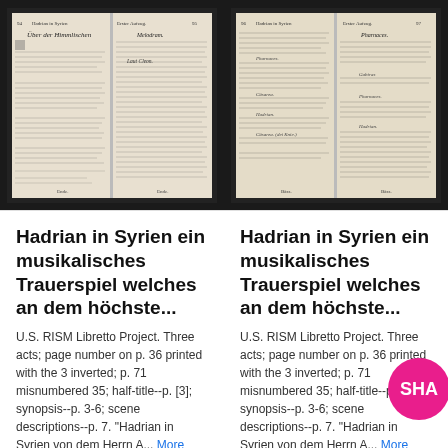[Figure (photo): Black and white scan of an open book showing two pages of German text in old Gothic/Fraktur script, left page headed 'Über der Himmlischen', right page with columns of text]
[Figure (photo): Black and white scan of an open book showing two pages of German text in old Gothic/Fraktur script, similar to left image]
Hadrian in Syrien ein musikalisches Trauerspiel welches an dem höchste...
U.S. RISM Libretto Project. Three acts; page number on p. 36 printed with the 3 inverted; p. 71 misnumbered 35; half-title--p. [3]; synopsis--p. 3-6; scene descriptions--p. 7. "Hadrian in Syrien von dem Herrn A... More
Hadrian in Syrien ein musikalisches Trauerspiel welches an dem höchste...
U.S. RISM Libretto Project. Three acts; page number on p. 36 printed with the 3 inverted; p. 71 misnumbered 35; half-title--p. [3]; synopsis--p. 3-6; scene descriptions--p. 7. "Hadrian in Syrien von dem Herrn A... More